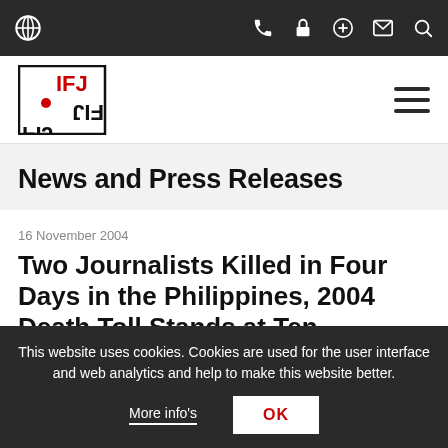IFJ website navigation bar with globe, phone, lock, plus, mail, and search icons
[Figure (logo): IFJ (International Federation of Journalists) logo — black and red lettering with globe symbol]
News and Press Releases
16 November 2004
Two Journalists Killed in Four Days in the Philippines, 2004 Death Toll Stands at Ten
This website uses cookies. Cookies are used for the user interface and web analytics and help to make this website better.